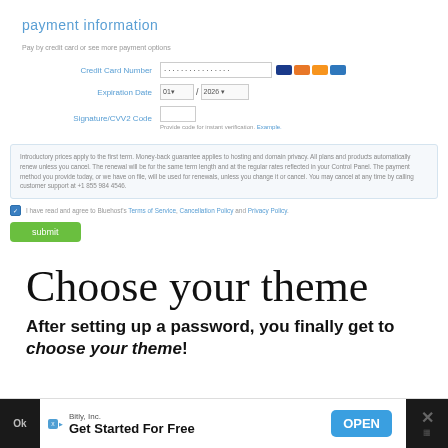payment information
Pay by credit card or see more payment options
[Figure (screenshot): Payment form with Credit Card Number field (filled with dots), card brand icons, Expiration Date dropdowns, and Signature/CVV2 Code field with note 'Provide code for instant verification. Example.']
Introductory prices apply to the first term. Money-back guarantee applies to hosting and domain privacy. All plans and products automatically renew unless you cancel. The renewal will be for the same term length and at the regular rates reflected in your Control Panel. The payment method you provide today, or we have on file, will be used for renewals, unless you change it or cancel. You may cancel at any time by calling customer support at +1 855 984 4546.
I have read and agree to Bluehost's Terms of Service, Cancellation Policy and Privacy Policy.
submit
Choose your theme
After setting up a password, you finally get to choose your theme!
Ok... you...
[Figure (screenshot): Advertisement bar: Bitly Inc. Get Started For Free, OPEN button, close X button]